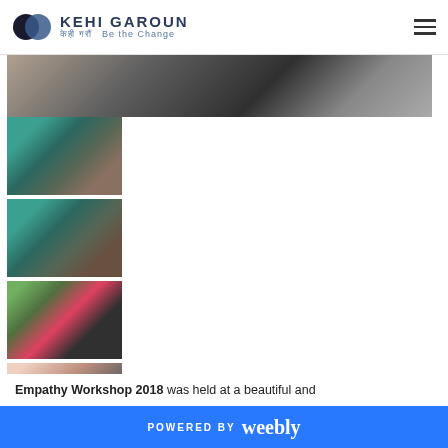KEHI GAROUN - Be the Change
[Figure (photo): Wide banner photo of a room interior, dark tones]
[Figure (photo): Thumbnail: group of people sitting in a room with teal/green walls]
[Figure (photo): Thumbnail: group of people sitting in a room with teal/green walls, different angle]
[Figure (photo): Thumbnail: two people sitting outdoors on grass looking at papers]
[Figure (photo): Thumbnail: two people (a woman and a man) in close conversation]
Empathy Workshop 2018 was held at a beautiful and
POWERED BY weebly